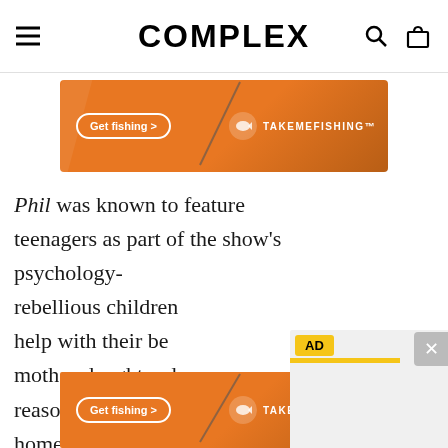COMPLEX
[Figure (screenshot): TakeMeFishing advertisement banner with orange background, woman fishing, 'Get fishing >' button, and TAKEMEFISHING logo]
Phil was known to feature teenagers as part of the show's psychology-[AD overlay] rebellious children [obscured] help with their be[obscured] mother-daughter d[obscured] reason behind the[obscured] home could have s[obscured] cancer twice and h[obscured] father, a deputy at[obscured] Office
[Figure (screenshot): TakeMeFishing advertisement banner at bottom, same as top banner]